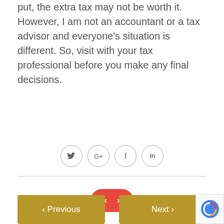put, the extra tax may not be worth it. However, I am not an accountant or a tax advisor and everyone's situation is different. So, visit with your tax professional before you make any final decisions.
[Figure (infographic): Social media sharing icons: Twitter (bird), Google+, Facebook (f), LinkedIn (in), each in a circular border]
[Figure (infographic): Red rounded rectangle pagination control with left and right chevron arrows]
[Figure (infographic): Previous and Next navigation buttons in gold/yellow color at the bottom of the page]